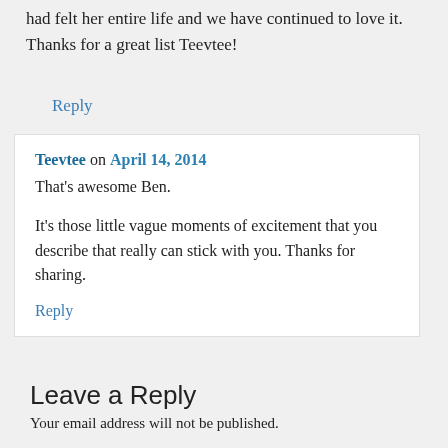had felt her entire life and we have continued to love it. Thanks for a great list Teevtee!
Reply
Teevtee on April 14, 2014
That's awesome Ben.

It's those little vague moments of excitement that you describe that really can stick with you. Thanks for sharing.
Reply
Leave a Reply
Your email address will not be published.